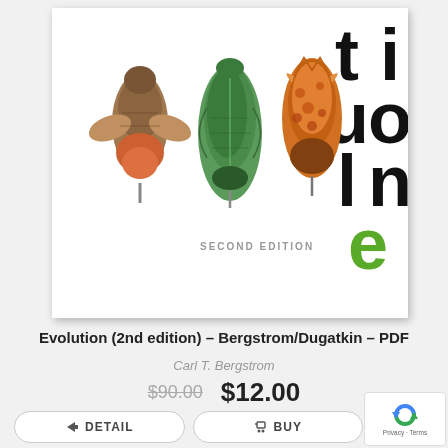[Figure (photo): Book cover of Evolution 2nd edition by Bergstrom/Dugatkin showing three chrysalis/pupa specimens and large text 'evolution' with SECOND EDITION subtitle]
Evolution (2nd edition) – Bergstrom/Dugatkin – PDF
Carl T. Bergstrom
$90.00 $12.00
DETAIL
BUY